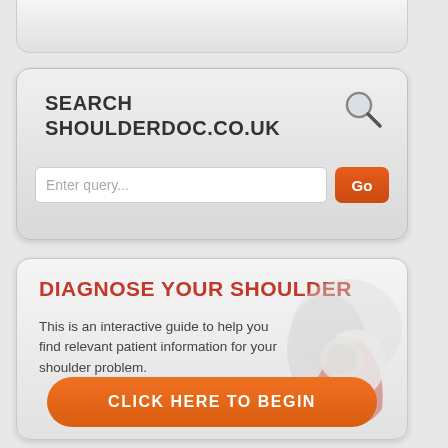[Figure (screenshot): Partial top card element from a web interface]
[Figure (screenshot): Search widget for shoulderdoc.co.uk with a search input field and Go button]
[Figure (screenshot): Diagnose Your Shoulder interactive guide card with shoulder anatomy illustration and CLICK HERE TO BEGIN button]